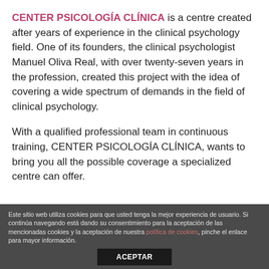CENTER PSICOLOGÍA CLÍNICA is a centre created after years of experience in the clinical psychology field. One of its founders, the clinical psychologist Manuel Oliva Real, with over twenty-seven years in the profession, created this project with the idea of covering a wide spectrum of demands in the field of clinical psychology.
With a qualified professional team in continuous training, CENTER PSICOLOGÍA CLÍNICA, wants to bring you all the possible coverage a specialized centre can offer.
Este sitio web utiliza cookies para que usted tenga la mejor experiencia de usuario. Si continúa navegando está dando su consentimiento para la aceptación de las mencionadas cookies y la aceptación de nuestra política de cookies, pinche el enlace para mayor información.